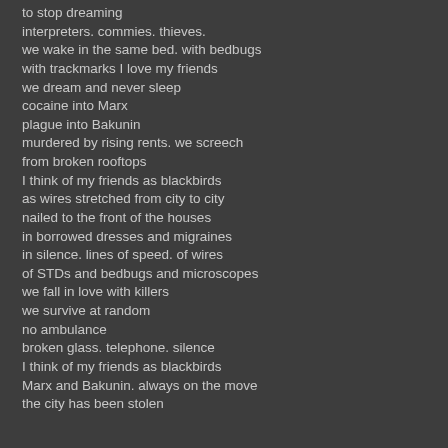to stop dreaming
interpreters. commies. thieves.
we wake in the same bed. with bedbugs
with trackmarks I love my friends
we dream and never sleep
cocaine into Marx
plague into Bakunin
murdered by rising rents. we screech
from broken rooftops
I think of my friends as blackbirds
as wires stretched from city to city
nailed to the front of the houses
in borrowed dresses and migraines
in silence. lines of speed. of wires
of STDs and bedbugs and microscopes
we fall in love with killers
we survive at random
no ambulance
broken glass. telephone. silence
I think of my friends as blackbirds
Marx and Bakunin. always on the move
the city has been stolen